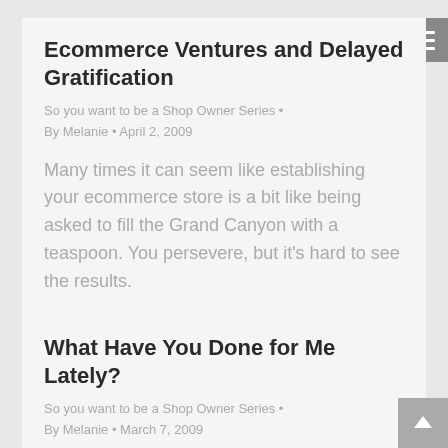Ecommerce Ventures and Delayed Gratification
So you want to be a Shop Owner Series • By Melanie • April 2, 2009
Many times it can seem like establishing your ecommerce store is a bit like being asked to fill the Grand Canyon with a teaspoon. You persevere, but it's hard to see the results.
What Have You Done for Me Lately?
So you want to be a Shop Owner Series • By Melanie • March 7, 2009